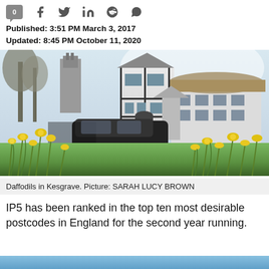0 [social share icons: Facebook, Twitter, LinkedIn, Reddit, WhatsApp]
Published: 3:51 PM March 3, 2017
Updated: 8:45 PM October 11, 2020
[Figure (photo): Daffodils growing in foreground grass with a black car passing in front of a white thatched building in Kesgrave, UK. Bare trees visible in the background against an overcast sky.]
Daffodils in Kesgrave. Picture: SARAH LUCY BROWN
IP5 has been ranked in the top ten most desirable postcodes in England for the second year running.